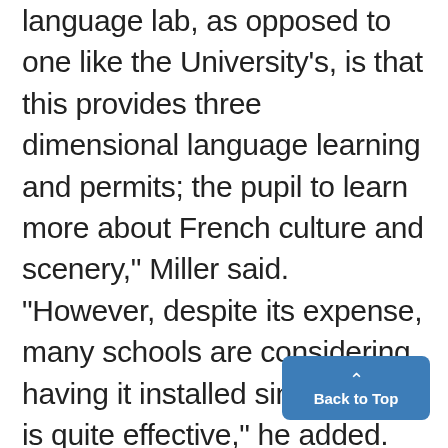language lab, as opposed to one like the University's, is that this provides three dimensional language learning and permits; the pupil to learn more about French culture and scenery," Miller said. "However, despite its expense, many schools are considering having it installed since it really is quite effective," he added. "Library 21" also had operating a display showing the use of m crocards, small plastic cards (ab 2.5 by four inches) on which re